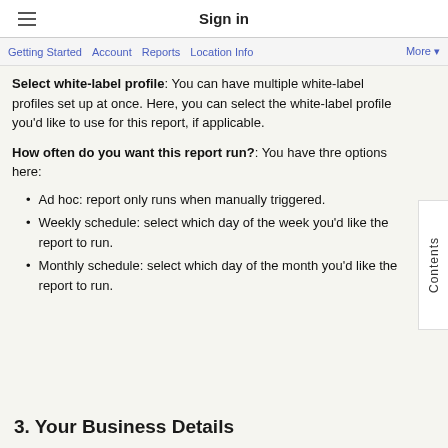Sign in
your existing white-label profile.
Select white-label profile: You can have multiple white-label profiles set up at once. Here, you can select the white-label profile you'd like to use for this report, if applicable.
How often do you want this report run?: You have three options here:
Ad hoc: report only runs when manually triggered.
Weekly schedule: select which day of the week you'd like the report to run.
Monthly schedule: select which day of the month you'd like the report to run.
3. Your Business Details